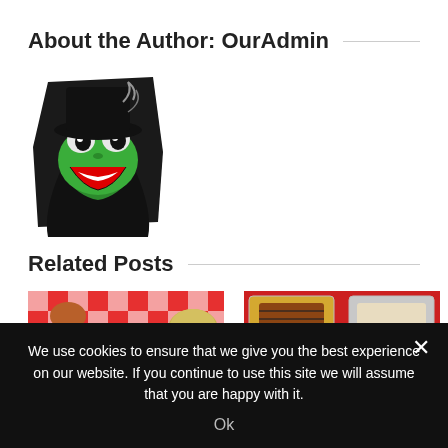About the Author: OurAdmin
[Figure (illustration): Kermit the Frog cartoon avatar bursting through a black paper/hole effect, green frog with wide eyes and open mouth smiling]
Related Posts
[Figure (photo): Overhead photo of BBQ brisket slices in a white bowl on a red and white checkered tablecloth, with side dishes]
[Figure (photo): Overhead photo of various grilled meats and sides in metal trays on a red background]
We use cookies to ensure that we give you the best experience on our website. If you continue to use this site we will assume that you are happy with it.
Ok